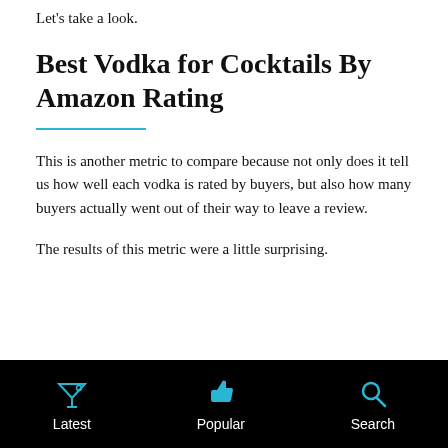Let's take a look.
Best Vodka for Cocktails By Amazon Rating
This is another metric to compare because not only does it tell us how well each vodka is rated by buyers, but also how many buyers actually went out of their way to leave a review.
The results of this metric were a little surprising.
Latest    Popular    Search